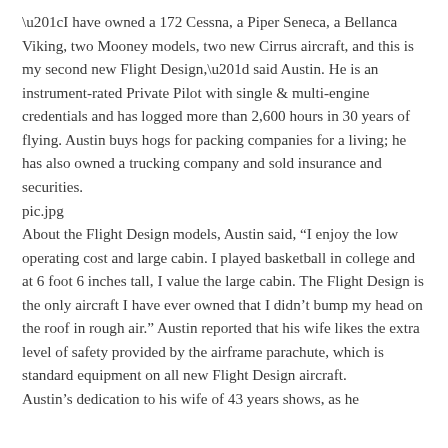“I have owned a 172 Cessna, a Piper Seneca, a Bellanca Viking, two Mooney models, two new Cirrus aircraft, and this is my second new Flight Design,” said Austin. He is an instrument-rated Private Pilot with single & multi-engine credentials and has logged more than 2,600 hours in 30 years of flying. Austin buys hogs for packing companies for a living; he has also owned a trucking company and sold insurance and securities.
pic.jpg
About the Flight Design models, Austin said, “I enjoy the low operating cost and large cabin. I played basketball in college and at 6 foot 6 inches tall, I value the large cabin. The Flight Design is the only aircraft I have ever owned that I didn’t bump my head on the roof in rough air.” Austin reported that his wife likes the extra level of safety provided by the airframe parachute, which is standard equipment on all new Flight Design aircraft.
Austin’s dedication to his wife of 43 years shows, as he